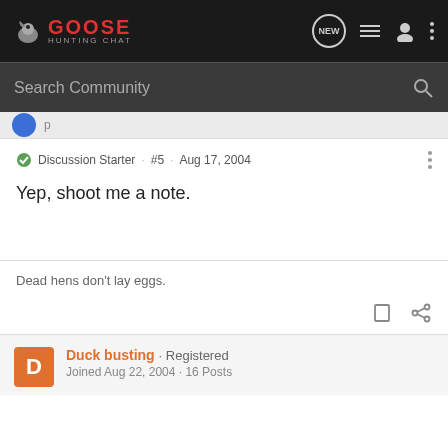GOOSE HUNTING CHAT
Search Community
Discussion Starter · #5 · Aug 17, 2004
Yep, shoot me a note.
Dead hens don't lay eggs.
Duck busting · Registered
Joined Aug 22, 2004 · 16 Posts